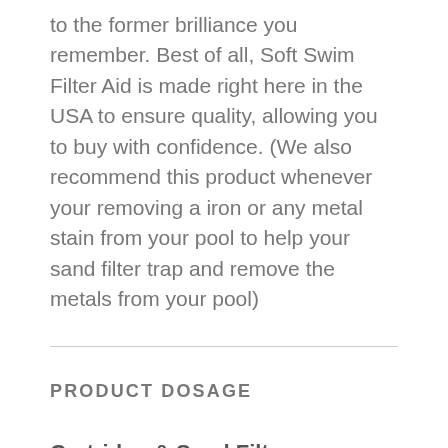to the former brilliance you remember. Best of all, Soft Swim Filter Aid is made right here in the USA to ensure quality, allowing you to buy with confidence. (We also recommend this product whenever your removing a iron or any metal stain from your pool to help your sand filter trap and remove the metals from your pool)
PRODUCT DOSAGE
Cartridge & Sand Filters:
1/2 to 1 lb per 10,000 to 35,000 gallons of